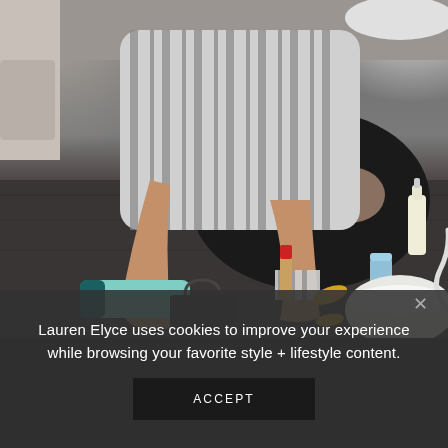[Figure (photo): A person sitting on a grey sofa wearing a white and grey striped shirt and black ripped jeans, holding a teal cosmetic tube. Various beauty products are spread on a dark wood coffee table including lipstick, serums, a small blue container, capsules, and a white bowl.]
Lauren Elyce uses cookies to improve your experience while browsing your favorite style + lifestyle content.
ACCEPT